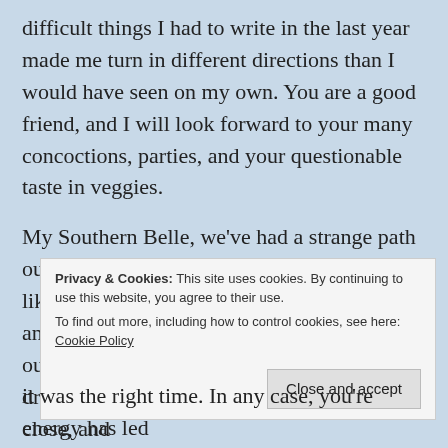difficult things I had to write in the last year made me turn in different directions than I would have seen on my own. You are a good friend, and I will look forward to your many concoctions, parties, and your questionable taste in veggies.
My Southern Belle, we've had a strange path ourselves. Distance is hard for me, but I feel like you are worth the patience, extra effort, and work it takes to overcome that. I feel that our similar experiences over the last year drew us together. I am quite glad that we are close, and
Privacy & Cookies: This site uses cookies. By continuing to use this website, you agree to their use.
To find out more, including how to control cookies, see here: Cookie Policy
it was the right time. In any case, you're energy has led